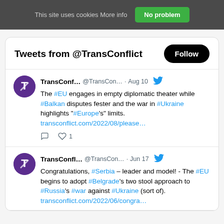This site uses cookies More info   No problem
Tweets from @TransConflict
TransConf... @TransCon... · Aug 10 The #EU engages in empty diplomatic theater while #Balkan disputes fester and the war in #Ukraine highlights "#Europe's" limits. transconflict.com/2022/08/please…
TransConfl... @TransCon... · Jun 17 Congratulations, #Serbia – leader and model! - The #EU begins to adopt #Belgrade's two stool approach to #Russia's #war against #Ukraine (sort of). transconflict.com/2022/06/congra…